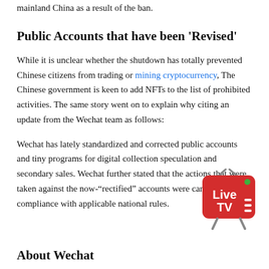mainland China as a result of the ban.
Public Accounts that have been ‘Revised’
While it is unclear whether the shutdown has totally prevented Chinese citizens from trading or mining cryptocurrency, The Chinese government is keen to add NFTs to the list of prohibited activities. The same story went on to explain why citing an update from the Wechat team as follows:
Wechat has lately standardized and corrected public accounts and tiny programs for digital collection speculation and secondary sales. Wechat further stated that the actions that were taken against the now-“rectified” accounts were carried out in compliance with applicable national rules.
[Figure (illustration): Live TV widget icon showing a red rounded rectangle with antenna, containing the text 'Live TV', a green dot in the upper right, and three horizontal white lines on the right side.]
About Wechat